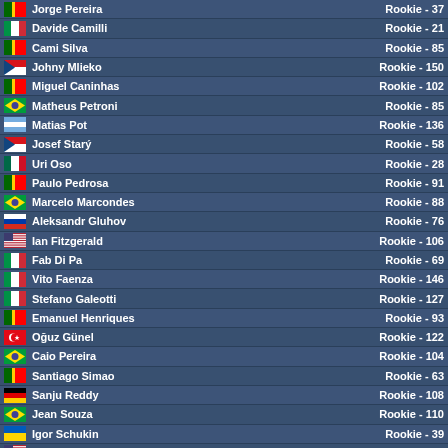Jorge Pereira - Rookie - 37
Davide Camilli - Rookie - 21
Cami Silva - Rookie - 85
Johny Mlieko - Rookie - 150
Miguel Caninhas - Rookie - 102
Matheus Petroni - Rookie - 85
Matias Pot - Rookie - 136
Josef Starý - Rookie - 58
Uri Oso - Rookie - 28
Paulo Pedrosa - Rookie - 91
Marcelo Marcondes - Rookie - 88
Aleksandr Gluhov - Rookie - 76
Ian Fitzgerald - Rookie - 106
Fab Di Pa - Rookie - 69
Vito Faenza - Rookie - 146
Stefano Galeotti - Rookie - 127
Emanuel Henriques - Rookie - 93
Oğuz Günel - Rookie - 122
Caio Pereira - Rookie - 104
Santiago Simao - Rookie - 63
Sanju Reddy - Rookie - 108
Jean Souza - Rookie - 110
Igor Schukin - Rookie - 39
Danzer Bell - Rookie - 36